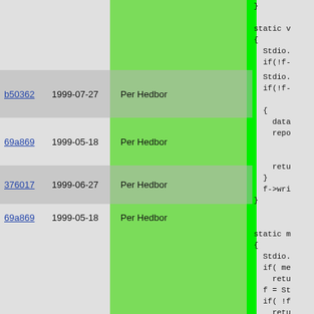| commit | date | author |
| --- | --- | --- |
| b50362 | 1999-07-27 | Per Hedbor |
| 69a869 | 1999-05-18 | Per Hedbor |
| 376017 | 1999-06-27 | Per Hedbor |
| 69a869 | 1999-05-18 | Per Hedbor |
}

static v
{
  Stdio.
  if(!f-

  {
    data
    repo



    retu
  }
  f->wri
}


static m
{
  Stdio.
  if( me
    retu
  f = St
  if( !f
    retu
  return
}

static m
{